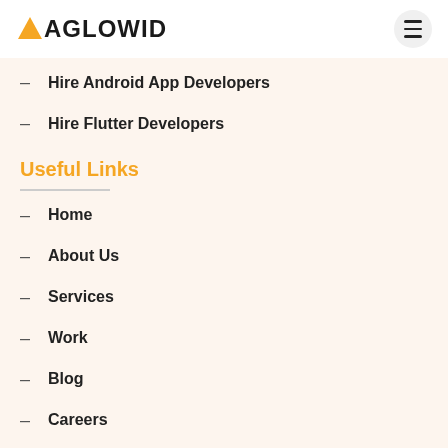AGLOWID
Hire Android App Developers
Hire Flutter Developers
Useful Links
Home
About Us
Services
Work
Blog
Careers
Contact Us